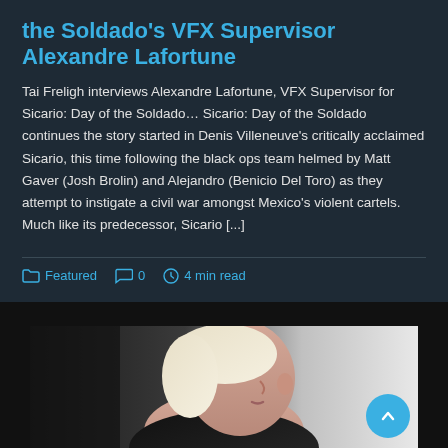the Soldado's VFX Supervisor Alexandre Lafortune
Tai Freligh interviews Alexandre Lafortune, VFX Supervisor for Sicario: Day of the Soldado… Sicario: Day of the Soldado continues the story started in Denis Villeneuve's critically acclaimed Sicario, this time following the black ops team helmed by Matt Gaver (Josh Brolin) and Alejandro (Benicio Del Toro) as they attempt to instigate a civil war amongst Mexico's violent cartels. Much like its predecessor, Sicario [...]
Featured   0   4 min read
[Figure (photo): Close-up side profile photo of a woman with short blonde hair and dark clothing against a light background]